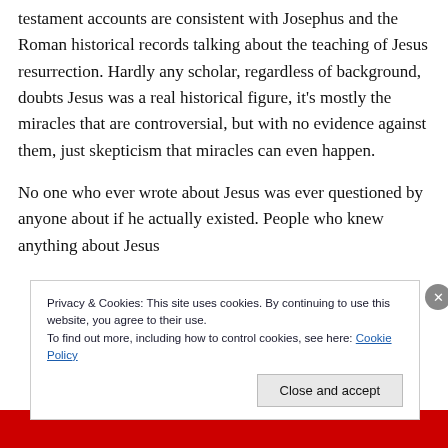testament accounts are consistent with Josephus and the Roman historical records talking about the teaching of Jesus resurrection. Hardly any scholar, regardless of background, doubts Jesus was a real historical figure, it's mostly the miracles that are controversial, but with no evidence against them, just skepticism that miracles can even happen. No one who ever wrote about Jesus was ever questioned by anyone about if he actually existed. People who knew anything about Jesus
Privacy & Cookies: This site uses cookies. By continuing to use this website, you agree to their use. To find out more, including how to control cookies, see here: Cookie Policy
Close and accept